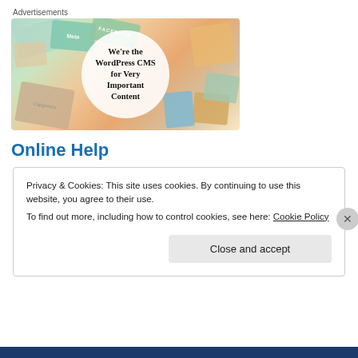Advertisements
[Figure (illustration): Advertisement banner for a WordPress CMS product. Background shows overlapping colorful cards/tiles with brand names like Meta, Facebook, Capgemini. A white circle in the center reads: We're the WordPress CMS for Very Important Content.]
Online Help
Privacy & Cookies: This site uses cookies. By continuing to use this website, you agree to their use.
To find out more, including how to control cookies, see here: Cookie Policy
Close and accept